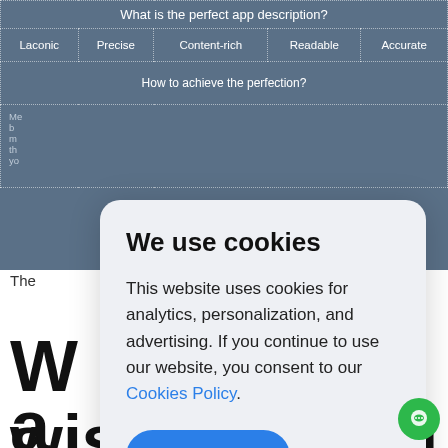| Laconic | Precise | Content-rich | Readable | Accurate |
| --- | --- | --- | --- | --- |
| What is the perfect app description? |
| Laconic | Precise | Content-rich | Readable | Accurate |
| How to achieve the perfection? |
| Me... |  |  |  |  |
The
[Figure (screenshot): Cookie consent modal overlay with title 'We use cookies', body text about analytics/personalization/advertising, a Cookies Policy link, and an Accept button]
We use cookies
This website uses cookies for analytics, personalization, and advertising. If you continue to use our website, you consent to our Cookies Policy.
Accept
W
a
n
wisely